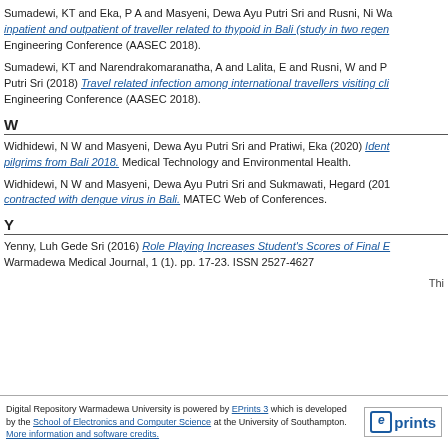Sumadewi, KT and Eka, P A and Masyeni, Dewa Ayu Putri Sri and Rusni, Ni Wa... inpatient and outpatient of traveller related to thypoid in Bali (study in two regen... Engineering Conference (AASEC 2018).
Sumadewi, KT and Narendrakomaranatha, A and Lalita, E and Rusni, W and P... Putri Sri (2018) Travel related infection among international travellers visiting cli... Engineering Conference (AASEC 2018).
W
Widhidewi, N W and Masyeni, Dewa Ayu Putri Sri and Pratiwi, Eka (2020) Ident... pilgrims from Bali 2018. Medical Technology and Environmental Health.
Widhidewi, N W and Masyeni, Dewa Ayu Putri Sri and Sukmawati, Hegard (201... contracted with dengue virus in Bali. MATEC Web of Conferences.
Y
Yenny, Luh Gede Sri (2016) Role Playing Increases Student's Scores of Final E... Warmadewa Medical Journal, 1 (1). pp. 17-23. ISSN 2527-4627
Thi
Digital Repository Warmadewa University is powered by EPrints 3 which is developed by the School of Electronics and Computer Science at the University of Southampton. More information and software credits.